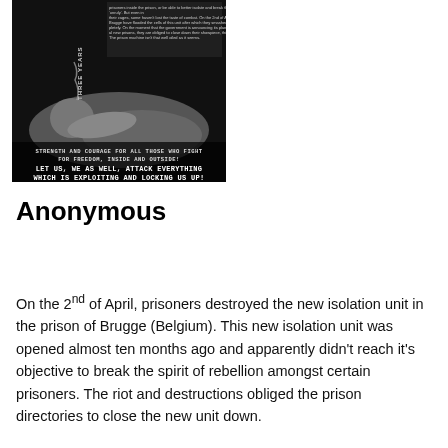[Figure (photo): Black and white poster image showing a person lying down with text overlay. Top text (small): paragraph about prisoners in Brugge prison. Bottom text reads: 'STRENGTH AND COURAGE FOR ALL THOSE WHO FIGHT FOR FREEDOM, INSIDE AND OUTSIDE!' and larger text: 'LET US, WE AS WELL, ATTACK EVERYTHING WHICH IS EXPLOITING AND LOCKING US UP!' Vertical text on left side reads 'THREE YEARS'.]
Anonymous
On the 2nd of April, prisoners destroyed the new isolation unit in the prison of Brugge (Belgium). This new isolation unit was opened almost ten months ago and apparently didn't reach it's objective to break the spirit of rebellion amongst certain prisoners. The riot and destructions obliged the prison directories to close the new unit down.